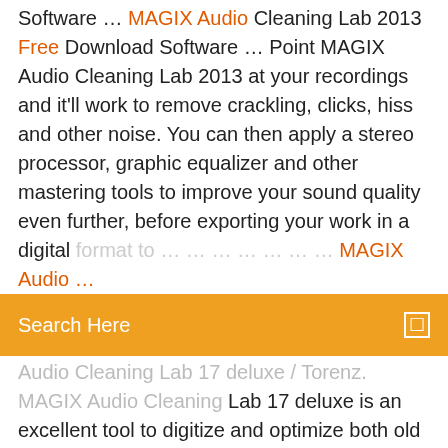Software ... Point MAGIX Audio Cleaning Lab 2013 at your recordings and it'll work to remove crackling, clicks, hiss and other noise. You can then apply a stereo processor, graphic equalizer and other mastering tools to improve your sound quality even further, before exporting your work in a digital format to … [link: MAGIX Audio Cleaning Lab...]
Search Here
Audio Cleaning Lab 17 deluxe / Torenz. MAGIX Audio Cleaning Lab 17 deluxe is an excellent tool to digitize and optimize both old and new music. MAGIX Audio Cleanic 2016 (FR) - Montage Audio - YouTube Skip trial 1 month free. Find out why Close. MAGIX Audio Cleanic 2016 (FR) - Montage Audio MAGIX. Loading... Unsubscribe from MAGIX? Cancel Unsubscribe. Working... Subscribe Subscribed Unsubscribe ...
MAGIX Audio Cleaning Lab 2013 v19.0.0.10 Final Full ...
MAGIX Audio Cleaning Lab 12 Free Download MAGIX Audio